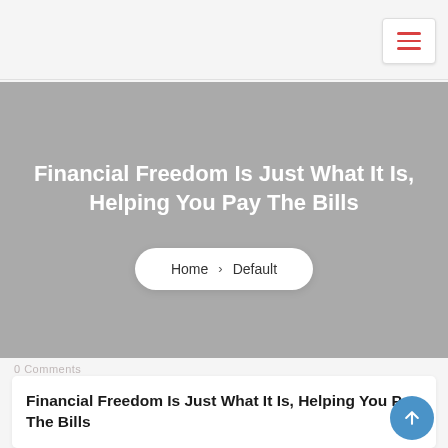[Figure (screenshot): Navigation bar with hamburger menu button (three red horizontal lines) on white background]
Financial Freedom Is Just What It Is, Helping You Pay The Bills
Home > Default
0 Comments
Financial Freedom Is Just What It Is, Helping You Pay The Bills